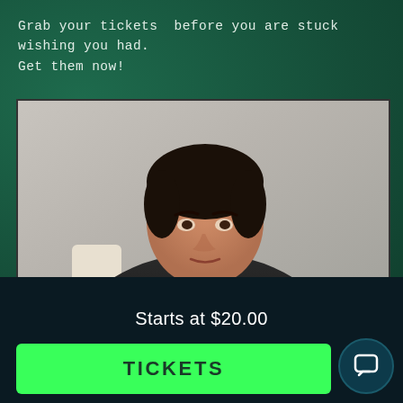Grab your tickets  before you are stuck wishing you had. Get them now!
[Figure (photo): A middle-aged man with dark hair wearing a black shirt, sitting with his hands clasped together, in front of a light gray background. He appears to be seated in a cream-colored chair.]
Starts at $20.00
TICKETS